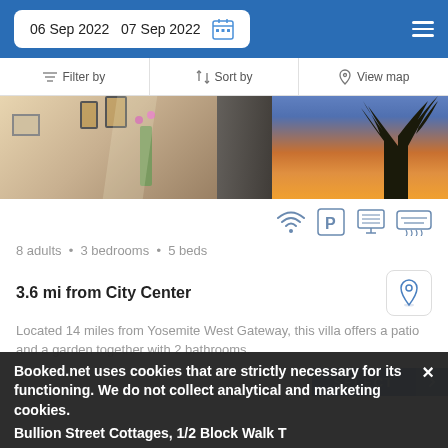06 Sep 2022  07 Sep 2022
Filter by  Sort by  View map
[Figure (photo): Interior room photo on left (decorative lanterns, flowers, dark curtains) and outdoor sunset photo on right (tree silhouette against orange/blue sky)]
8 adults • 3 bedrooms • 5 beds
3.6 mi from City Center
Located 14 miles from Yosemite West Gateway, this villa offers a patio and a garden together with 2 bathrooms.
Booked.net uses cookies that are strictly necessary for its functioning. We do not collect analytical and marketing cookies.
Bullion Street Cottages, 1/2 Block Walk T